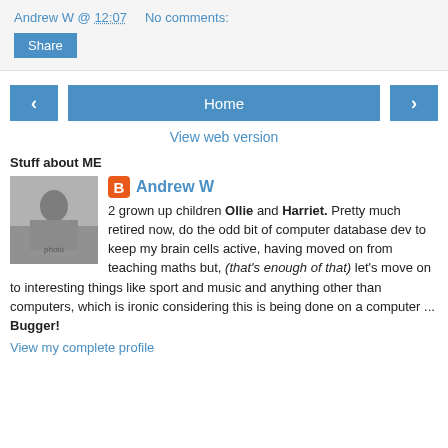Andrew W @ 12:07   No comments:
Share
< Home >
View web version
Stuff about ME
[Figure (photo): Black and white photo of a person outdoors on rocky terrain]
Andrew W
2 grown up children Ollie and Harriet. Pretty much retired now, do the odd bit of computer database dev to keep my brain cells active, having moved on from teaching maths but, (that's enough of that) let's move on to interesting things like sport and music and anything other than computers, which is ironic considering this is being done on a computer ... Bugger!
View my complete profile